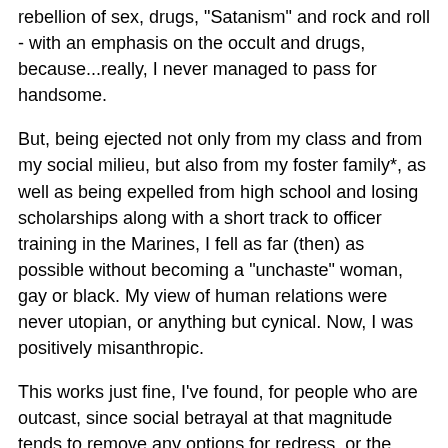rebellion of sex, drugs, "Satanism" and rock and roll - with an emphasis on the occult and drugs, because...really, I never managed to pass for handsome.
But, being ejected not only from my class and from my social milieu, but also from my foster family*, as well as being expelled from high school and losing scholarships along with a short track to officer training in the Marines, I fell as far (then) as possible without becoming a "unchaste" woman, gay or black. My view of human relations were never utopian, or anything but cynical. Now, I was positively misanthropic.
This works just fine, I've found, for people who are outcast, since social betrayal at that magnitude tends to remove any options for redress, or the seeking of alliances from people still within the bosom embrace of acceptable norms. Misanthropy makes sense, especially when you're an outsider who has no lower class social groups into which he can integrate.
Abused children have trust issues. Outcasts tend to belong